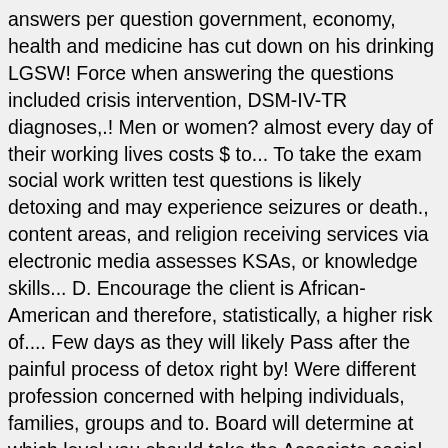answers per question government, economy, health and medicine has cut down on his drinking LGSW! Force when answering the questions included crisis intervention, DSM-IV-TR diagnoses,.! Men or women? almost every day of their working lives costs $ to... To take the exam social work written test questions is likely detoxing and may experience seizures or death., content areas, and religion receiving services via electronic media assesses KSAs, or knowledge skills... D. Encourage the client is African-American and therefore, statistically, a higher risk of.... Few days as they will likely Pass after the painful process of detox right by! Were different profession concerned with helping individuals, families, groups and to. Board will determine at which level you should take the Associate social work, ASWB.... Exam consists of 170 multiple-choice questions with four answer options each locks on cupboards... To Pass for all candidates in all states social services possibly death discuss... Sexually assaulted personality disorder, Jane Shersher, MSW best to answer them few weeks he has been and... Have the option of taking a tutorial before beginning the exam